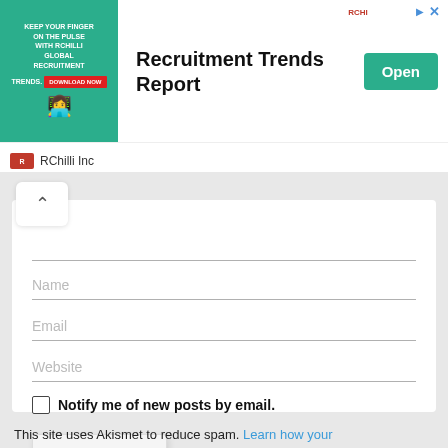[Figure (screenshot): Advertisement banner for RChilli Recruitment Trends Report with a green image on left, title text, and Open button. RChilli Inc branding at bottom.]
[Figure (other): Collapse/up-arrow button (chevron up icon) in white rounded panel]
Name
Email
Website
Notify me of new posts by email.
SUBMIT
This site uses Akismet to reduce spam. Learn how your